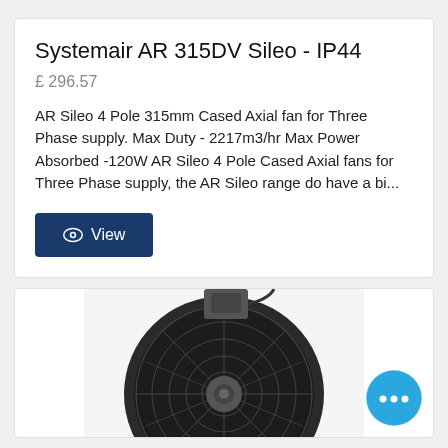Systemair AR 315DV Sileo - IP44
£ 296.57
AR Sileo 4 Pole 315mm Cased Axial fan for Three Phase supply. Max Duty - 2217m3/hr Max Power Absorbed -120W AR Sileo 4 Pole Cased Axial fans for Three Phase supply, the AR Sileo range do have a bi...
[Figure (other): Blue 'View' button with eye icon]
[Figure (photo): Partial photo of an axial fan (Systemair AR 315DV Sileo) showing the front grille and motor housing, in a white card below]